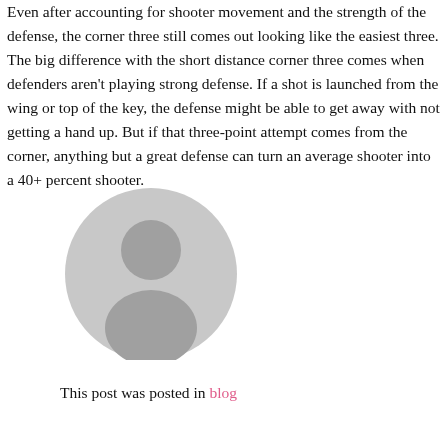Even after accounting for shooter movement and the strength of the defense, the corner three still comes out looking like the easiest three. The big difference with the short distance corner three comes when defenders aren't playing strong defense. If a shot is launched from the wing or top of the key, the defense might be able to get away with not getting a hand up. But if that three-point attempt comes from the corner, anything but a great defense can turn an average shooter into a 40+ percent shooter.
[Figure (illustration): Gray circular default avatar/user profile icon showing a silhouette of a person with a round head and shoulders against a gray background.]
This post was posted in blog